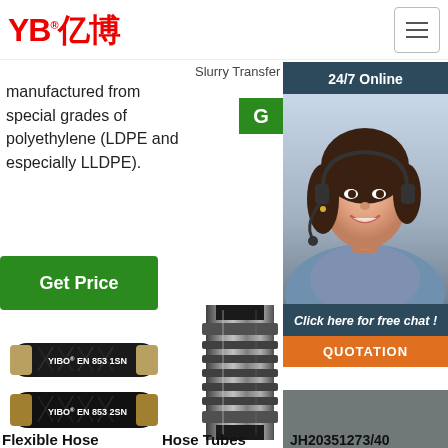[Figure (logo): YB亿博 logo in red with registered trademark symbol]
[Figure (illustration): Hamburger menu icon (three horizontal lines) in a bordered square]
Slurry Transfer 4 ...
manufactured from special grades of polyethylene (LDPE and especially LLDPE).
[Figure (screenshot): Green Get Price button]
[Figure (infographic): 24/7 Online panel with dark blue background, chat agent photo of woman with headset smiling, 'Click here for free chat!' text, and orange QUOTATION button]
[Figure (photo): Two black rubber hoses labeled YIBO EN 853 1SN and YIBO EN 853 2SN]
[Figure (photo): Close-up of a hose tube/fitting showing internal structure]
[Figure (photo): Close-up of a hose end fitting with TOP badge overlay]
Flexible Hose
Hose Tubes
JH20351273/40